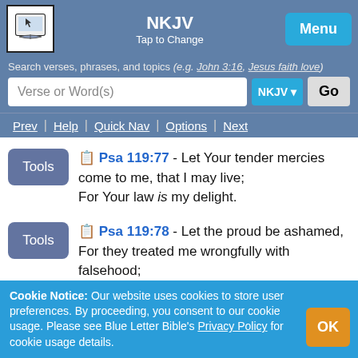NKJV - Tap to Change | Menu
Search verses, phrases, and topics (e.g. John 3:16, Jesus faith love)
Verse or Word(s) | NKJV | Go
Prev | Help | Quick Nav | Options | Next
Psa 119:77 - Let Your tender mercies come to me, that I may live; For Your law is my delight.
Psa 119:78 - Let the proud be ashamed, For they treated me wrongfully with falsehood;
Cookie Notice: Our website uses cookies to store user preferences. By proceeding, you consent to our cookie usage. Please see Blue Letter Bible's Privacy Policy for cookie usage details.